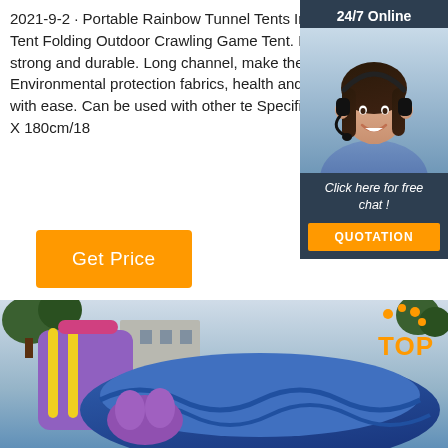2021-9-2 · Portable Rainbow Tunnel Tents Indoor Kids Play House Tent Folding Outdoor Crawling Game Tent. Features: Closed channel, strong and durable. Long channel, make the baby more happier. Environmental protection fabrics, health and tasteless. The playing with ease. Can be used with other te Specifications: Product Size: 46 X 180cm/18
[Figure (other): Customer support chat widget with '24/7 Online' header, photo of a smiling woman with headset, 'Click here for free chat!' text, and an orange QUOTATION button, on dark blue background.]
[Figure (other): Orange 'Get Price' button]
[Figure (photo): Outdoor inflatable bounce house / water slide play equipment with blue and multicolored structures, trees in background, and a TOP logo badge in orange on the right side.]